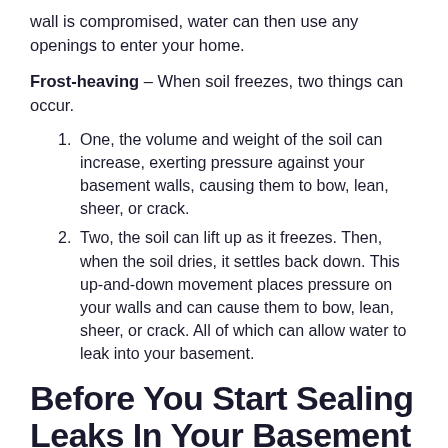wall is compromised, water can then use any openings to enter your home.
Frost-heaving – When soil freezes, two things can occur.
One, the volume and weight of the soil can increase, exerting pressure against your basement walls, causing them to bow, lean, sheer, or crack.
Two, the soil can lift up as it freezes. Then, when the soil dries, it settles back down. This up-and-down movement places pressure on your walls and can cause them to bow, lean, sheer, or crack. All of which can allow water to leak into your basement.
Before You Start Sealing Leaks In Your Basement